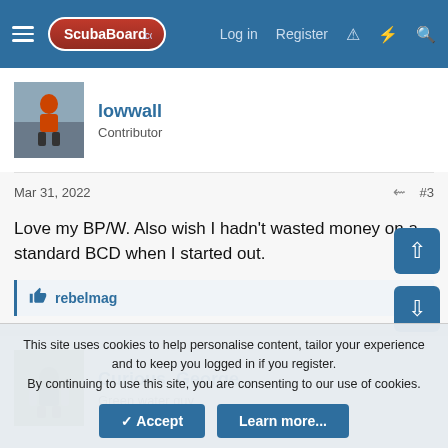ScubaBoard.com — Log in | Register
lowwall
Contributor
Mar 31, 2022  #3
Love my BP/W. Also wish I hadn't wasted money on a standard BCD when I started out.
👍 rebelmag
Curious_George
Green water guy
This site uses cookies to help personalise content, tailor your experience and to keep you logged in if you register.
By continuing to use this site, you are consenting to our use of cookies.